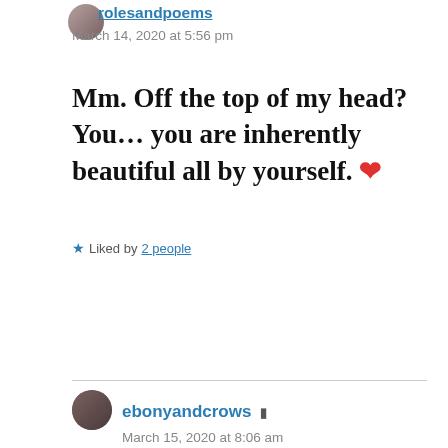rolesandpoems
March 14, 2020 at 5:56 pm
Mm. Off the top of my head? You… you are inherently beautiful all by yourself. ❤
★ Liked by 2 people
Reply
ebonyandcrows
March 15, 2020 at 8:06 am